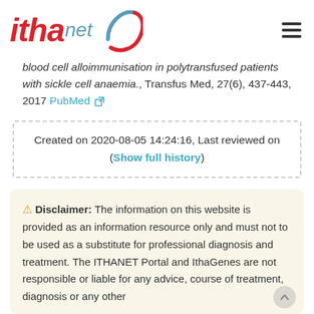[Figure (logo): ITHANET logo with red italic 'itha', blue 'net' text and a blue-red circle arc on the right, plus a hamburger menu icon on the far right]
blood cell alloimmunisation in polytransfused patients with sickle cell anaemia., Transfus Med, 27(6), 437-443, 2017 PubMed
Created on 2020-08-05 14:24:16, Last reviewed on (Show full history)
⚠ Disclaimer: The information on this website is provided as an information resource only and must not to be used as a substitute for professional diagnosis and treatment. The ITHANET Portal and IthaGenes are not responsible or liable for any advice, course of treatment, diagnosis or any other